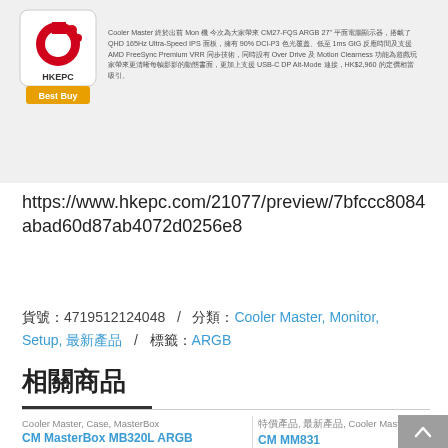[Figure (screenshot): HKEPC Best Buy logo badge and Chinese product description text about Cooler Master GM27-FQS ARGB 27-inch monitor]
https://www.hkepc.com/21077/preview/7bfccc8084abad60d87ab4072d0256e8
貨號：4719512124048  /  分類：Cooler Master, Monitor, Setup, 最新產品  /  標籤：ARGB
相關商品
Cooler Master, Case, MasterBox
CM MasterBox MB320L ARGB
特價產品, 最新產品, Cooler Master
CM MM831
[Figure (photo): CM MasterBox MB320L ARGB product image - dark PC case]
[Figure (photo): CM MM831 product image]